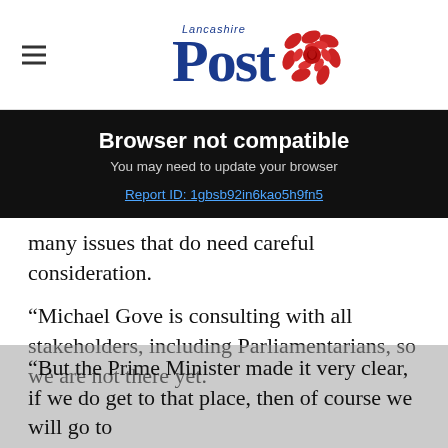Lancashire Post
[Figure (screenshot): Browser not compatible error banner on Lancashire Post website. Black background with white bold text 'Browser not compatible', grey subtext 'You may need to update your browser', and blue underlined link 'Report ID: 1gbsb92in6kao5h9fn5']
many issues that do need careful consideration.
“Michael Gove is consulting with all stakeholders, including Parliamentarians, so we are not there yet.
“But the Prime Minister made it very clear, if we do get to that place, then of course we will go to Parliament, because…